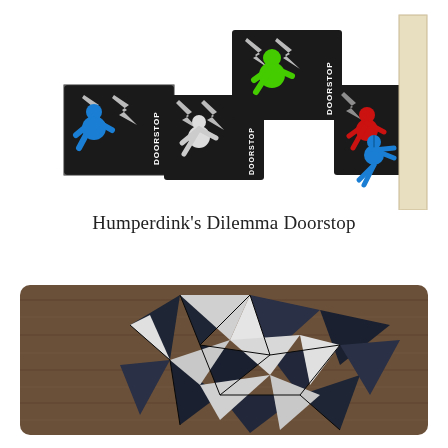[Figure (photo): Photo of Humperdink's Dilemma Doorstop product — four black-and-white packaging boxes labeled DOORSTOP with colorful humanoid figure doorstops (blue, white, red, green) posed against the boxes, plus a blue figure pushing against a door on the right side.]
Humperdink's Dilemma Doorstop
[Figure (photo): Photo of a geometric art piece made of dark navy/black and white triangular fabric or leather panels arranged in a mosaic pattern on a wooden surface, resembling an abstract animal or bird shape.]
Art that Makes a Beautiful Geometric...